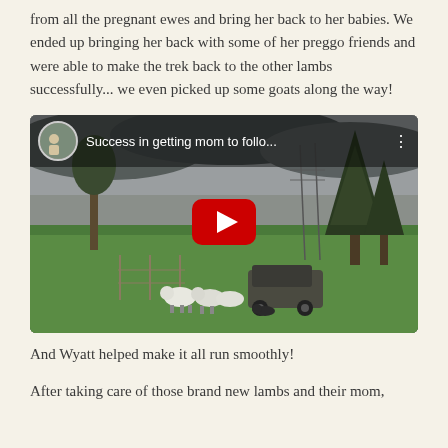from all the pregnant ewes and bring her back to her babies. We ended up bringing her back with some of her preggo friends and were able to make the trek back to the other lambs successfully... we even picked up some goats along the way!
[Figure (screenshot): YouTube video thumbnail showing sheep and a UTV on a green farm field with trees and an overcast sky. The video is titled 'Success in getting mom to follo...' with a red YouTube play button in the center.]
And Wyatt helped make it all run smoothly!
After taking care of those brand new lambs and their mom,